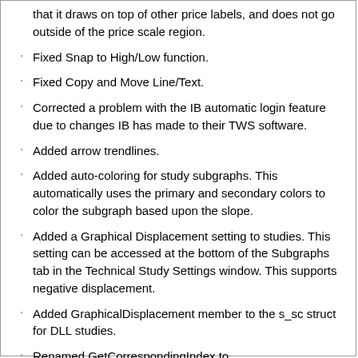that it draws on top of other price labels, and does not go outside of the price scale region.
Fixed Snap to High/Low function.
Fixed Copy and Move Line/Text.
Corrected a problem with the IB automatic login feature due to changes IB has made to their TWS software.
Added arrow trendlines.
Added auto-coloring for study subgraphs. This automatically uses the primary and secondary colors to color the subgraph based upon the slope.
Added a Graphical Displacement setting to studies. This setting can be accessed at the bottom of the Subgraphs tab in the Technical Study Settings window. This supports negative displacement.
Added GraphicalDisplacement member to the s_sc struct for DLL studies.
Renamed GetCorrespondingIndex to